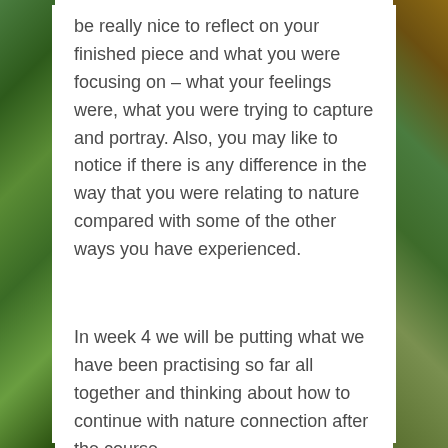be really nice to reflect on your finished piece and what you were focusing on – what your feelings were, what you were trying to capture and portray. Also, you may like to notice if there is any difference in the way that you were relating to nature compared with some of the other ways you have experienced.
In week 4 we will be putting what we have been practising so far all together and thinking about how to continue with nature connection after the course.